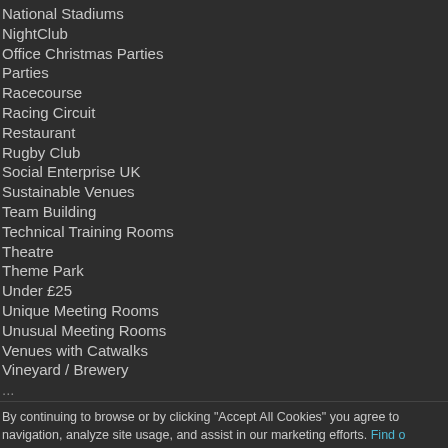National Stadiums
NightClub
Office Christmas Parties
Parties
Racecourse
Racing Circuit
Restaurant
Rugby Club
Social Enterprise UK
Sustainable Venues
Team Building
Technical Training Rooms
Theatre
Theme Park
Under £25
Unique Meeting Rooms
Unusual Meeting Rooms
Venues with Catwalks
Vineyard / Brewery
...
By continuing to browse or by clicking "Accept All Cookies" you agree to navigation, analyze site usage, and assist in our marketing efforts. Find o...